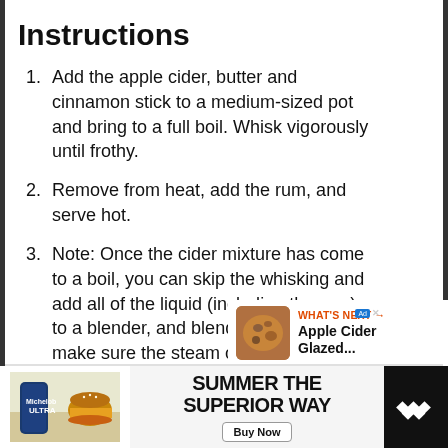Instructions
Add the apple cider, butter and cinnamon stick to a medium-sized pot and bring to a full boil. Whisk vigorously until frothy.
Remove from heat, add the rum, and serve hot.
Note: Once the cider mixture has come to a boil, you can skip the whisking and add all of the liquid (including the rum) to a blender, and blend until frothy. Just make sure the steam can escape by leaving the center hole of your blender’s cover open.
[Figure (infographic): Purple heart/favorite icon button and share icon button on the right side]
[Figure (infographic): What's Next panel: Apple Cider Glazed... with food thumbnail]
[Figure (infographic): Advertisement banner at bottom: Michelob ULTRA - Summer The Superior Way, Buy Now button, Tidal logo]